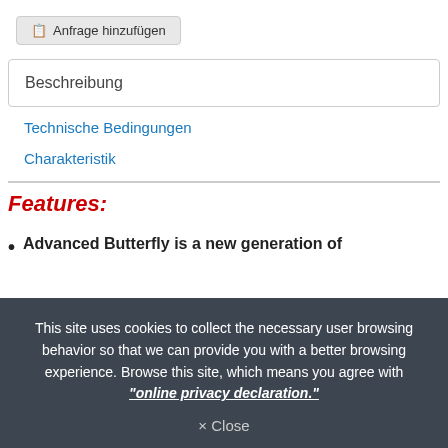[Figure (screenshot): Button labeled 'Anfrage hinzufügen' with a document icon]
Beschreibung
Technische Bedingungen
Charakteristik
Features:
Advanced Butterfly is a new generation of
This site uses cookies to collect the necessary user browsing behavior so that we can provide you with a better browsing experience. Browse this site, which means you agree with "online privacy declaration."
× Close